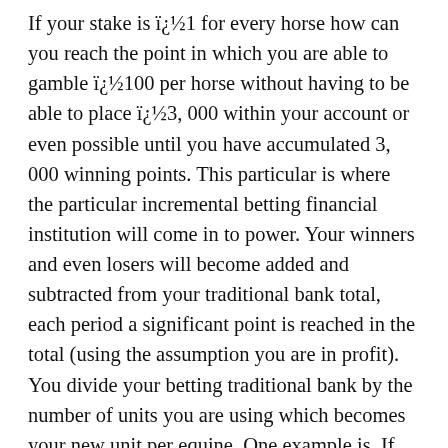If your stake is ï¿½1 for every horse how can you reach the point in which you are able to gamble ï¿½100 per horse without having to be able to place ï¿½3, 000 within your account or even possible until you have accumulated 3, 000 winning points. This particular is where the particular incremental betting financial institution will come in to power. Your winners and even losers will become added and subtracted from your traditional bank total, each period a significant point is reached in the total (using the assumption you are in profit). You divide your betting traditional bank by the number of units you are using which becomes your new unit per equine. One example is. If starting with a lender of ï¿½30 with ï¿½1 per horses at the point the bank reaches up to ï¿½45 dividing typically the total by 25 gives a fresh unit of ï¿½1. 50. Once the particular bank attains ï¿½60 then dividing by simply 30 gives ï¿½2 per selection. □□□□□□□□□□□□□ continues until a